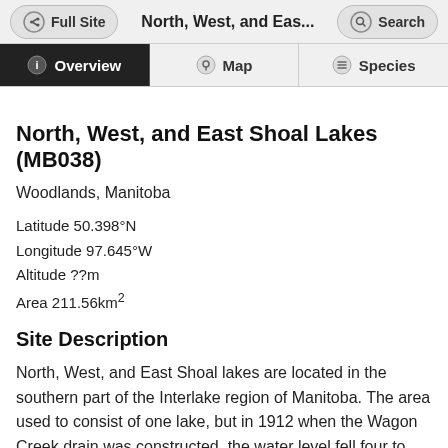Full Site | North, West, and Eas... | Search
Overview | Map | Species
North, West, and East Shoal Lakes (MB038)
Woodlands, Manitoba
Latitude 50.398°N
Longitude 97.645°W
Altitude ??m
Area 211.56km²
Site Description
North, West, and East Shoal lakes are located in the southern part of the Interlake region of Manitoba. The area used to consist of one lake, but in 1912 when the Wagon Creek drain was constructed, the water level fell four to five metres. The lakes are alkaline and contain a number of islands. The area covers a large area of the